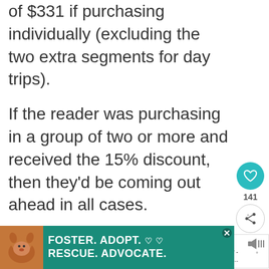of $331 if purchasing individually (excluding the two extra segments for day trips).
If the reader was purchasing in a group of two or more and received the 15% discount, then they'd be coming out ahead in all cases.
[Figure (infographic): Social sidebar with teal heart button, count of 141, and share button]
[Figure (infographic): What's Next panel with Omio Review thumbnail and text 'Omio Review - The Best Wa...']
[Figure (infographic): Foster. Adopt. Rescue. Advocate. advertisement banner with dog image on teal background]
[Figure (infographic): Mute/audio icon in bottom right]